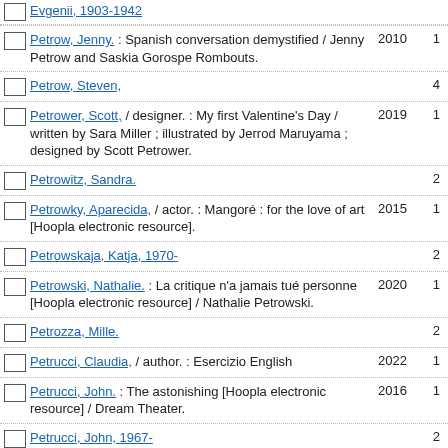Evgenii, 1903-1942
Petrow, Jenny. : Spanish conversation demystified / Jenny Petrow and Saskia Gorospe Rombouts. 2010 1
Petrow, Steven, 4
Petrower, Scott. / designer. : My first Valentine's Day / written by Sara Miller ; illustrated by Jerrod Maruyama ; designed by Scott Petrower. 2019 1
Petrowitz, Sandra. 2
Petrowky, Aparecida, / actor. : Mangoré : for the love of art [Hoopla electronic resource]. 2015 1
Petrowskaja, Katja, 1970- 2
Petrowski, Nathalie. : La critique n'a jamais tué personne [Hoopla electronic resource] / Nathalie Petrowski. 2020 1
Petrozza, Mille. 2
Petrucci, Claudia, / author. : Esercizio English 2022 1
Petrucci, John. : The astonishing [Hoopla electronic resource] / Dream Theater. 2016 1
Petrucci, John, 1967- 2
Petrucci, Kellyann, 13
Petrucci, Virginia. : Bikini spring break [Hoopla electronic resource]. 2012 1